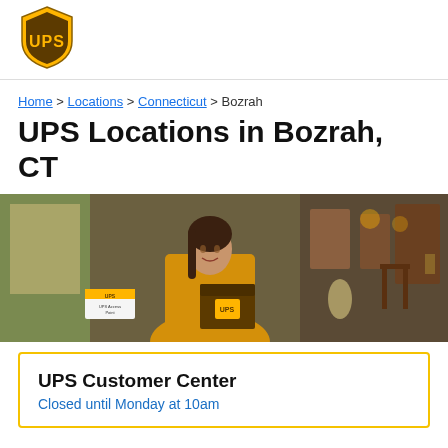UPS logo
Home > Locations > Connecticut > Bozrah
UPS Locations in Bozrah, CT
[Figure (photo): A woman in a yellow turtleneck sweater holding a UPS package, standing in front of a shop window displaying antiques.]
UPS Customer Center
Closed until Monday at 10am